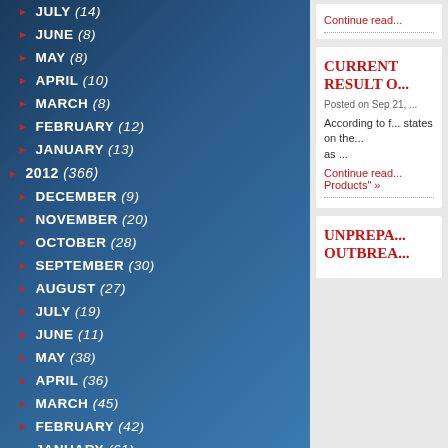JULY (14)
JUNE (8)
MAY (8)
APRIL (10)
MARCH (8)
FEBRUARY (12)
JANUARY (13)
2012 (366)
DECEMBER (9)
NOVEMBER (20)
OCTOBER (28)
SEPTEMBER (30)
AUGUST (27)
JULY (19)
JUNE (11)
MAY (38)
APRIL (36)
MARCH (45)
FEBRUARY (42)
JANUARY (61)
2011 (230)
DECEMBER (25)
NOVEMBER (27)
Continue read...
CURRENT RESULT O...
Posted on Sep 21, ...
According to f... states on the... as ...
Continue read... Products" »
UNPREPA... OUTBREA...